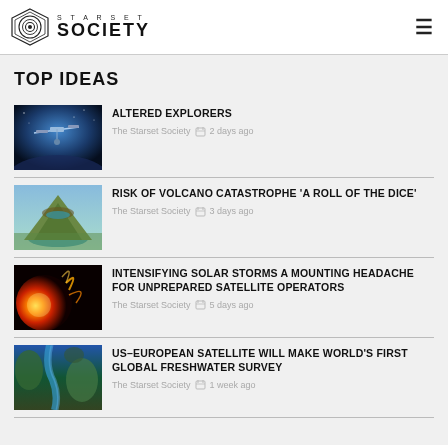STARSET SOCIETY
TOP IDEAS
ALTERED EXPLORERS — The Starset Society — 2 days ago
RISK OF VOLCANO CATASTROPHE 'A ROLL OF THE DICE' — The Starset Society — 3 days ago
INTENSIFYING SOLAR STORMS A MOUNTING HEADACHE FOR UNPREPARED SATELLITE OPERATORS — The Starset Society — 5 days ago
US–EUROPEAN SATELLITE WILL MAKE WORLD'S FIRST GLOBAL FRESHWATER SURVEY — The Starset Society — 1 week ago